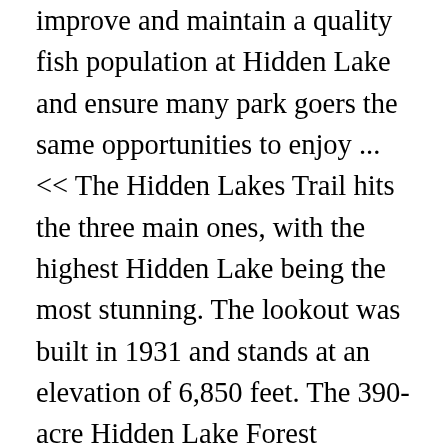improve and maintain a quality fish population at Hidden Lake and ensure many park goers the same opportunities to enjoy ... << The Hidden Lakes Trail hits the three main ones, with the highest Hidden Lake being the most stunning. The lookout was built in 1931 and stands at an elevation of 6,850 feet. The 390-acre Hidden Lake Forest Preserve in Downers Grove is an ideal place to fish, paddle, picnic or just relax. Easy Unpaved. View Trail Map Discover our Hidden Lake: 2.8 miles one-way Park in the Wetlands parking lot and head down the Gifford Memorial Boardwalk to the bird blind over the Great Marsh. A substantial amount of boardwalk over the fragile meadow,